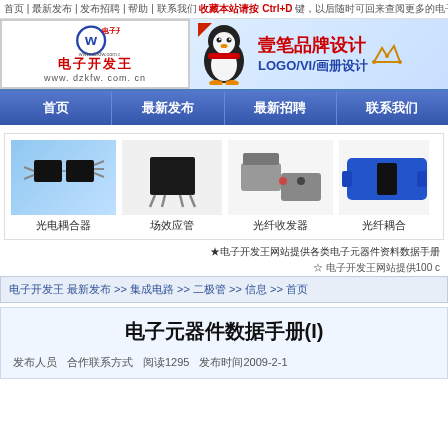首页 | 最新发布 | 发布招聘 | 帮助 | 联系我们  收藏本站请按 Ctrl+D 键，以后随时可回来查阅更多的电子资料.
[Figure (logo): 电子开发王 logo with W in circle, www.dzkfw.com.cn]
[Figure (illustration): 壹笔品牌设计 banner with Tencent QQ penguin, LOGO/VI/画册设计]
首页  最新发布  最新招聘  联系我们
[Figure (photo): 光电耦合器 product photo - black IC chip on blue background]
光电耦合器
[Figure (photo): 场效应管 product photo - black SMD component]
场效应管
[Figure (photo): 光纤收发器 product photo - gray fiber optic devices]
光纤收发器
[Figure (photo): 光纤耦合器 product photo - blue fiber connector]
光纤耦合
★电子开发王网站提供各类电子元器件资料数据手册
☆ 电子开发王网站提供100 c
电子开发王 最新发布 >> 集成电路 >> 二极管 >> 信息 >> 首页
电子元器件数据手册(I)
发布人员  合作联系方式  阅读1295  发布时间2009-2-1